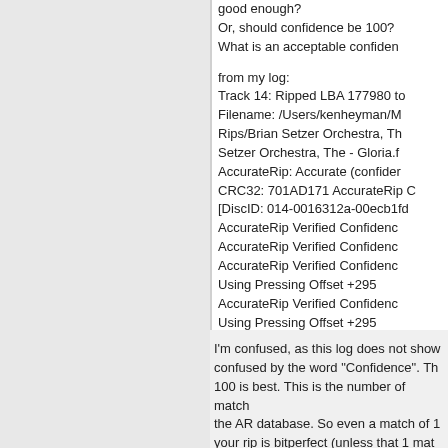good enough?
Or, should confidence be 100?
What is an acceptable confiden
from my log:
Track 14: Ripped LBA 177980 to
Filename: /Users/kenheyman/M
Rips/Brian Setzer Orchestra, Th
Setzer Orchestra, The - Gloria.f
AccurateRip: Accurate (confider
CRC32: 701AD171 AccurateRip C
[DiscID: 014-0016312a-00ecb1fd
AccurateRip Verified Confidenc
AccurateRip Verified Confidenc
AccurateRip Verified Confidenc
Using Pressing Offset +295
AccurateRip Verified Confidenc
Using Pressing Offset +295
I'm confused, as this log does not show confused by the word "Confidence". Th 100 is best. This is the number of match the AR database. So even a match of 1 your rip is bitperfect (unless that 1 mat submitted yourself). Think of it this way that your rip is bitperfect to someone e of the CD, different computer, different